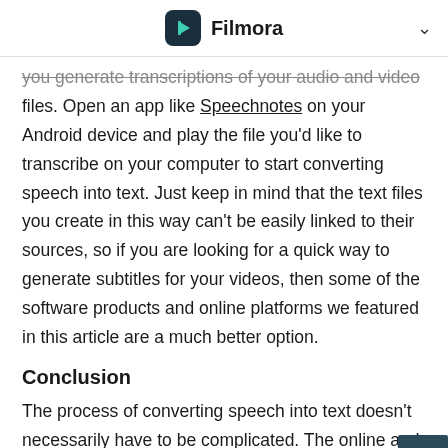Filmora
you generate transcriptions of your audio and video files. Open an app like Speechnotes on your Android device and play the file you'd like to transcribe on your computer to start converting speech into text. Just keep in mind that the text files you create in this way can't be easily linked to their sources, so if you are looking for a quick way to generate subtitles for your videos, then some of the software products and online platforms we featured in this article are a much better option.
Conclusion
The process of converting speech into text doesn't necessarily have to be complicated. The online and computer-based speech to text apps can help you